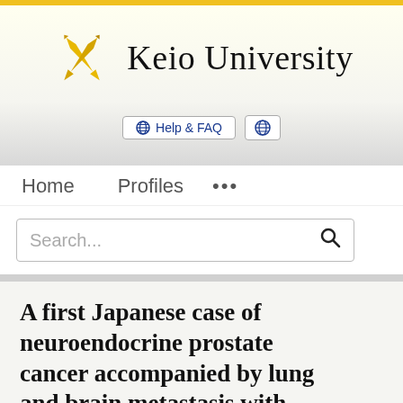[Figure (logo): Keio University logo with crossed pen/quill symbol in gold and university name in serif font]
Help & FAQ
Home   Profiles   ...
Search...
A first Japanese case of neuroendocrine prostate cancer accompanied by lung and brain metastasis with somatic and germline BRCA2 mutation